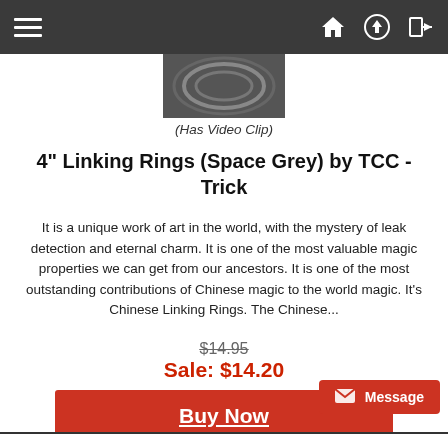Navigation bar with menu, home, upload, and login icons
[Figure (photo): Partial product image of metal linking rings, dark/grey metallic appearance]
(Has Video Clip)
4" Linking Rings (Space Grey) by TCC - Trick
It is a unique work of art in the world, with the mystery of leak detection and eternal charm. It is one of the most valuable magic properties we can get from our ancestors. It is one of the most outstanding contributions of Chinese magic to the world magic. It's Chinese Linking Rings. The Chinese...
$14.95
Sale: $14.20
Buy Now
Message